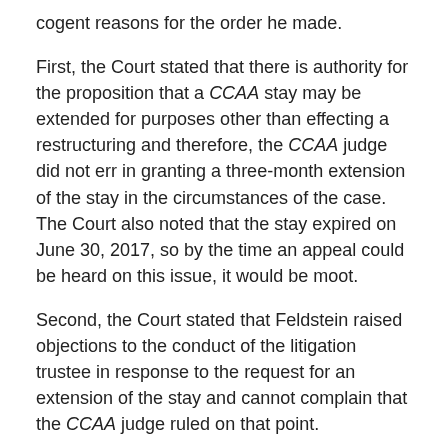cogent reasons for the order he made.
First, the Court stated that there is authority for the proposition that a CCAA stay may be extended for purposes other than effecting a restructuring and therefore, the CCAA judge did not err in granting a three-month extension of the stay in the circumstances of the case. The Court also noted that the stay expired on June 30, 2017, so by the time an appeal could be heard on this issue, it would be moot.
Second, the Court stated that Feldstein raised objections to the conduct of the litigation trustee in response to the request for an extension of the stay and cannot complain that the CCAA judge ruled on that point.
Finally, the Court stated that the findings of the CCAA judge, including that the responding parties have acted in good faith and with due diligence and that the litigation